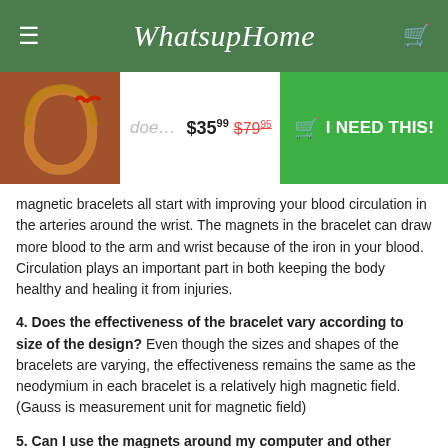WhatsupHome
[Figure (photo): Copper magnetic bracelet product image]
$35.99  $79.95
I NEED THIS!
magnetic bracelets all start with improving your blood circulation in the arteries around the wrist. The magnets in the bracelet can draw more blood to the arm and wrist because of the iron in your blood. Circulation plays an important part in both keeping the body healthy and healing it from injuries.
4. Does the effectiveness of the bracelet vary according to size of the design? Even though the sizes and shapes of the bracelets are varying, the effectiveness remains the same as the neodymium in each bracelet is a relatively high magnetic field. (Gauss is measurement unit for magnetic field)
5. Can I use the magnets around my computer and other